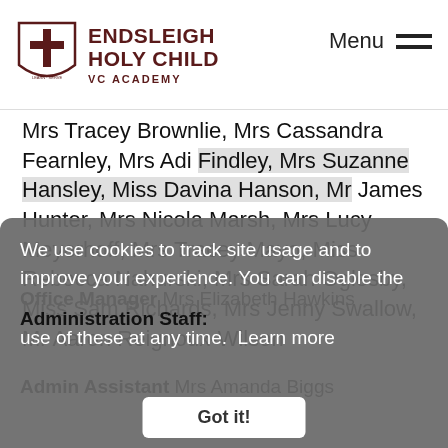Endsleigh Holy Child VC Academy — Menu
Mrs Tracey Brownlie, Mrs Cassandra Fearnley, Mrs Adi Findley, Mrs Suzanne Hansley, Miss Davina Hanson, Mr James Hunter, Mrs Nicola Marsh, Mrs Lucy Meyerhoff, Mrs Tracey Mayo, Miss Rebecca Nahurski, Mrs Sarah Oglesby, Miss Sam Richards, Mrs Jenny Swallow, Mr Aaron Reignoux-Wilson
Administration Staff:
We use cookies to track site usage and to improve your experience. You can disable the use of these at any time. Learn more
Office Manager Mrs Elizabeth Hawkins
Admin Assistant Mrs Amanda Biggs